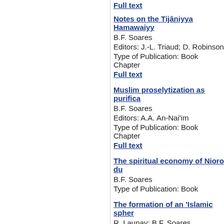Full text
Notes on the Tijâniyya Hamawaiyy...
B.F. Soares
Editors: J.-L. Triaud; D. Robinson
Type of Publication: Book Chapter
Full text
Muslim proselytization as purifica...
B.F. Soares
Editors: A.A. An-Nai'im
Type of Publication: Book Chapter
Full text
The spiritual economy of Nioro du...
B.F. Soares
Type of Publication: Book
The formation of an 'Islamic spher...
R. Launay; B.F. Soares
Type of Publication: Book